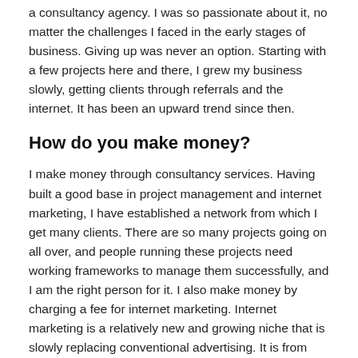a consultancy agency. I was so passionate about it, no matter the challenges I faced in the early stages of business. Giving up was never an option. Starting with a few projects here and there, I grew my business slowly, getting clients through referrals and the internet. It has been an upward trend since then.
How do you make money?
I make money through consultancy services. Having built a good base in project management and internet marketing, I have established a network from which I get many clients. There are so many projects going on all over, and people running these projects need working frameworks to manage them successfully, and I am the right person for it. I also make money by charging a fee for internet marketing. Internet marketing is a relatively new and growing niche that is slowly replacing conventional advertising. It is from these gaps that I have tapped opportunities and grown a significant customer